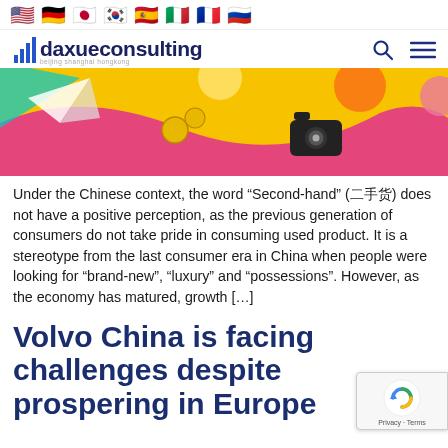🇺🇸 🇩🇪 🇯🇵 🇰🇷 🇪🇸 🇮🇹 🇫🇷 🇷🇺
[Figure (logo): Daxue Consulting logo with bar chart icon, text 'daxueconsulting', subtitle 'beijing shanghai hongkong', with search and hamburger menu icons]
[Figure (illustration): Colorful hero banner with yellow, pink/magenta, and teal background with floating objects including coins, a camera, and geometric shapes]
Under the Chinese context, the word “Second-hand” (二手货) does not have a positive perception, as the previous generation of consumers do not take pride in consuming used product. It is a stereotype from the last consumer era in China when people were looking for “brand-new”, “luxury” and “possessions”. However, as the economy has matured, growth […]
Volvo China is facing challenges despite prospering in Europe